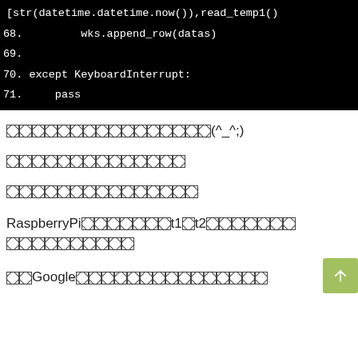[Figure (screenshot): Code block showing Python lines 68-71: line 68 wks.append_row(datas), line 69 empty, line 70 except KeyboardInterrupt:, line 71 pass, with a partial line at top showing [str(datetime.datetime.now()),read_temp1()]
（文字化けしている）(^_^;)
（文字化けしている）
RaspberryPiの設定でt1とt2の温度を（文字化けしている）
またGoogleスプレッドシートに（文字化けしている）